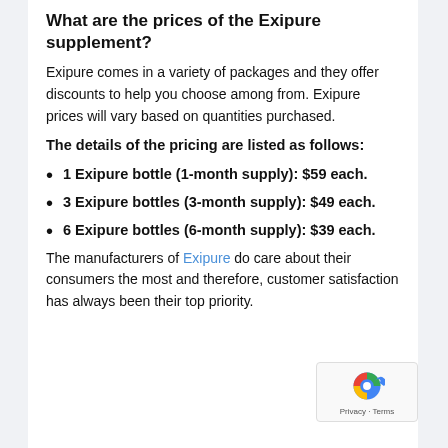What are the prices of the Exipure supplement?
Exipure comes in a variety of packages and they offer discounts to help you choose among from. Exipure prices will vary based on quantities purchased.
The details of the pricing are listed as follows:
1 Exipure bottle (1-month supply): $59 each.
3 Exipure bottles (3-month supply): $49 each.
6 Exipure bottles (6-month supply): $39 each.
The manufacturers of Exipure do care about their consumers the most and therefore, customer satisfaction has always been their top priority.